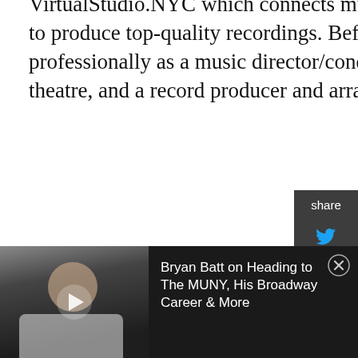VirtualStudio.NYC which connects musicians and engineers around the world to produce top-quality recordings. Before moving to New York, he worked professionally as a music director/conductor, a composer for film, TV, and theatre, and a record producer and arranger in his native Venezuela.
James Anthony Tyler's (Around 2) plays include Some Old Black Man (Berkshire Playwrights Lab at 59E59 Theaters), Dolphins and Sharks (LAByrinth Theater Company and the Finborough Theatre in London), hop tha A (Texas State University's Black and Latino Playwrights Conference, Ars Nova, The Drama League and Asolo Rep), Talkin' to This Chick Sippin' Magic Potion (Rattlestick Playwrights Theater,
[Figure (other): Share sidebar with Twitter and Facebook icons on dark background]
[Figure (photo): Video player thumbnail showing a man in white shirt with play button overlay, accompanied by title text: Bryan Batt on Heading to The MUNY, His Broadway Career & More]